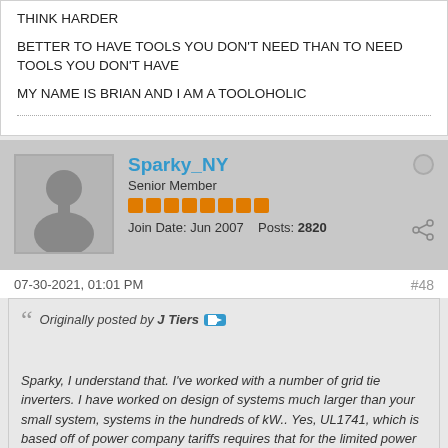THINK HARDER
BETTER TO HAVE TOOLS YOU DON'T NEED THAN TO NEED TOOLS YOU DON'T HAVE
MY NAME IS BRIAN AND I AM A TOOLOHOLIC
Sparky_NY
Senior Member
Join Date: Jun 2007  Posts: 2820
07-30-2021, 01:01 PM
#48
Originally posted by J Tiers
Sparky, I understand that. I've worked with a number of grid tie inverters. I have worked on design of systems much larger than your small system, systems in the hundreds of kW.. Yes, UL1741, which is based off of power company tariffs requires that for the limited power home systems. VERY restrictive for home systems, less so (and more so) for larger systems, with "ride through" requirements. and shutdown requirements.